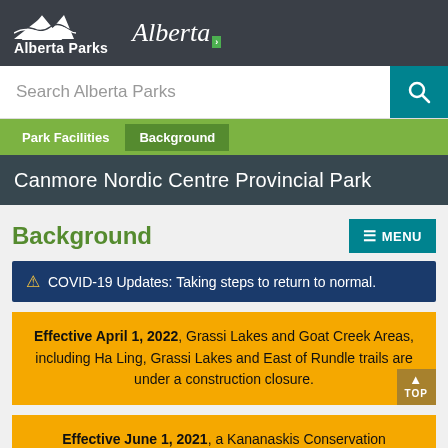Alberta Parks | Alberta
Search Alberta Parks
Park Facilities  Background
Canmore Nordic Centre Provincial Park
Background
⚠ COVID-19 Updates: Taking steps to return to normal.
Effective April 1, 2022, Grassi Lakes and Goat Creek Areas, including Ha Ling, Grassi Lakes and East of Rundle trails are under a construction closure.
Effective June 1, 2021, a Kananaskis Conservation